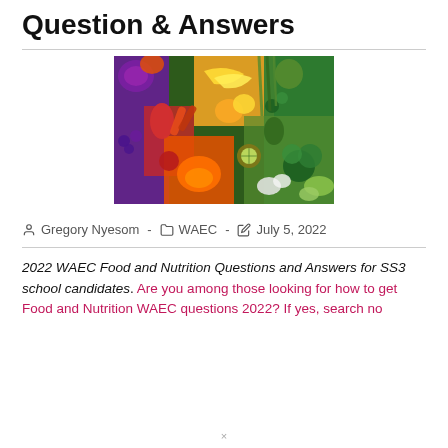Question & Answers
[Figure (photo): A colorful flat-lay photograph of a rainbow arrangement of fresh fruits and vegetables including purple cabbage, red peppers, orange carrots, yellow bananas, green asparagus, broccoli, and various other produce.]
Gregory Nyesom  -  WAEC  -  July 5, 2022
2022 WAEC Food and Nutrition Questions and Answers for SS3 school candidates. Are you among those looking for how to get Food and Nutrition WAEC questions 2022? If yes, search no